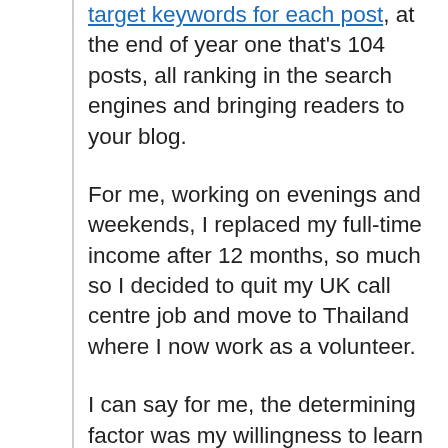target keywords for each post, at the end of year one that's 104 posts, all ranking in the search engines and bringing readers to your blog.
For me, working on evenings and weekends, I replaced my full-time income after 12 months, so much so I decided to quit my UK call centre job and move to Thailand where I now work as a volunteer.
I can say for me, the determining factor was my willingness to learn from the best at Wealthy Affiliate, go through the training without skipping a single lesson and then being bold enough to the action steps at the end